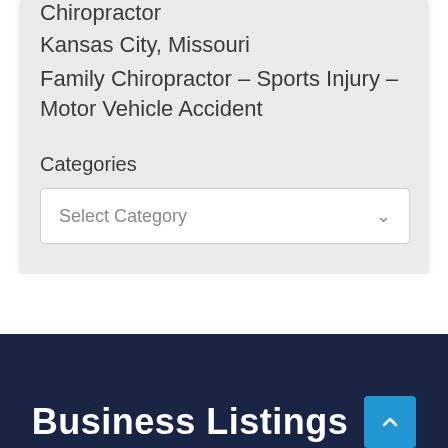Chiropractor
Kansas City, Missouri
Family Chiropractor – Sports Injury – Motor Vehicle Accident
Categories
Select Category
Business Listings